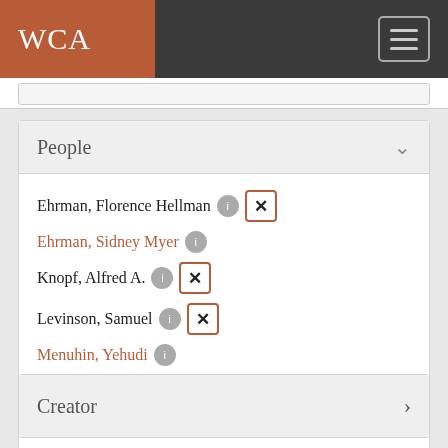WCA
People
Ehrman, Florence Hellman [1] [x]
Ehrman, Sidney Myer [1]
Knopf, Alfred A. [1] [x]
Levinson, Samuel [1] [x]
Menuhin, Yehudi [1]
Wiener, Anna Cora [1] [x]
Wiener, Fannie Meyer [1]
See more
Creator